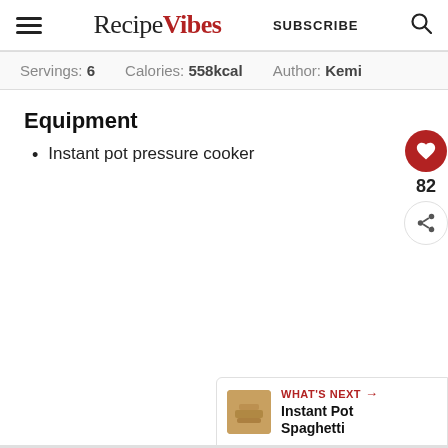RecipeVibes  SUBSCRIBE
Servings: 6  Calories: 558kcal  Author: Kemi
Equipment
Instant pot pressure cooker
82
WHAT'S NEXT → Instant Pot Spaghetti